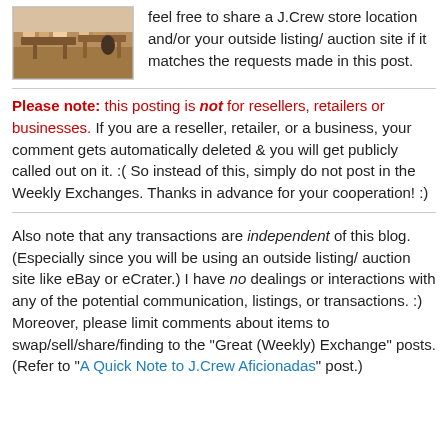[Figure (photo): Interior of a J.Crew store showing tables with merchandise]
feel free to share a J.Crew store location and/or your outside listing/ auction site if it matches the requests made in this post.
Please note: this posting is not for resellers, retailers or businesses. If you are a reseller, retailer, or a business, your comment gets automatically deleted & you will get publicly called out on it. :( So instead of this, simply do not post in the Weekly Exchanges. Thanks in advance for your cooperation! :)
Also note that any transactions are independent of this blog. (Especially since you will be using an outside listing/ auction site like eBay or eCrater.) I have no dealings or interactions with any of the potential communication, listings, or transactions. :) Moreover, please limit comments about items to swap/sell/share/finding to the "Great (Weekly) Exchange" posts. (Refer to "A Quick Note to J.Crew Aficionadas" post.)